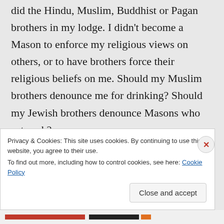did the Hindu, Muslim, Buddhist or Pagan brothers in my lodge. I didn't become a Mason to enforce my religious views on others, or to have brothers force their religious beliefs on me. Should my Muslim brothers denounce me for drinking? Should my Jewish brothers denounce Masons who eat pork?

Such sectarianism is fundamentally unmasonic.
Privacy & Cookies: This site uses cookies. By continuing to use this website, you agree to their use.
To find out more, including how to control cookies, see here: Cookie Policy